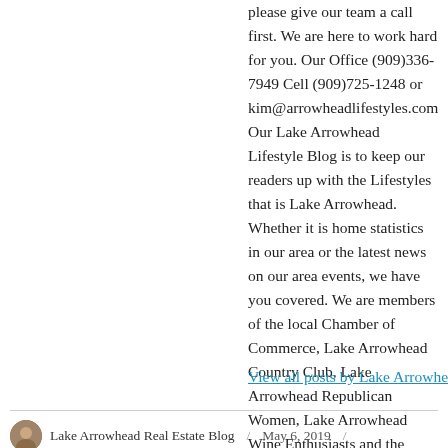please give our team a call first. We are here to work hard for you. Our Office (909)336-7949 Cell (909)725-1248 or kim@arrowheadlifestyles.com Our Lake Arrowhead Lifestyle Blog is to keep our readers up with the Lifestyles that is Lake Arrowhead. Whether it is home statistics in our area or the latest news on our area events, we have you covered. We are members of the local Chamber of Commerce, Lake Arrowhead Country Club, Lake Arrowhead Republican Women, Lake Arrowhead Wine Enthusiasts and the Lake Arrowhead Yacht Club. We have donated our time and energy to many local events and charities. Giving back to our community is a priority to us.
View all posts by Lake Arrowhead Real Estate Blog
Lake Arrowhead Real Estate Blog / May 6, 2019 / Crestline Home Sales, Lake Arrowhead Real Estate /